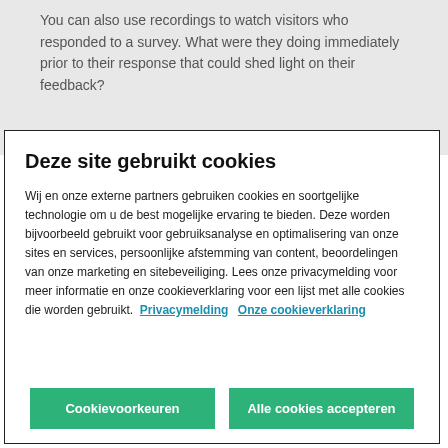You can also use recordings to watch visitors who responded to a survey. What were they doing immediately prior to their response that could shed light on their feedback?
A/B Testing
Deze site gebruikt cookies
Wij en onze externe partners gebruiken cookies en soortgelijke technologie om u de best mogelijke ervaring te bieden. Deze worden bijvoorbeeld gebruikt voor gebruiksanalyse en optimalisering van onze sites en services, persoonlijke afstemming van content, beoordelingen van onze marketing en sitebeveiliging. Lees onze privacymelding voor meer informatie en onze cookieverklaring voor een lijst met alle cookies die worden gebruikt.  Privacymelding  Onze cookieverklaring
Cookievoorkeuren
Alle cookies accepteren